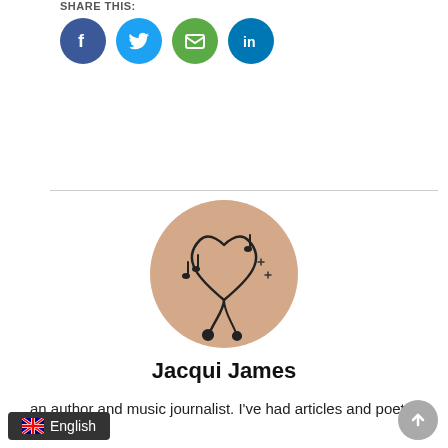SHARE THIS:
[Figure (infographic): Social share icons: Facebook (blue circle with F), Twitter (cyan circle with bird), Email (green circle with envelope), LinkedIn (blue circle with in)]
[Figure (photo): Circular author profile photo showing a tattoo of a heart with musical notes and headphone cable design on skin]
Jacqui James
an author and music journalist. I've had articles and poetry
English